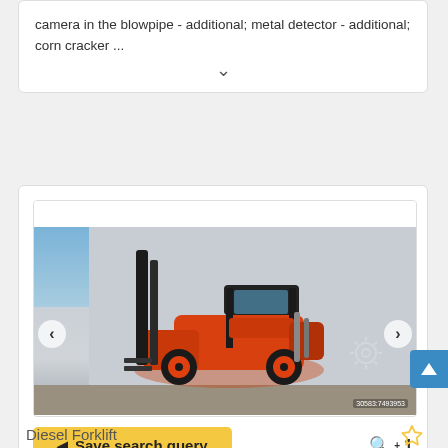camera in the blowpipe - additional; metal detector - additional; corn cracker ...
[Figure (photo): Red diesel forklift truck parked in front of a grey wall, with a tall black mast raised, photographed outdoors on a paved surface. Left and right navigation arrows visible.]
Save search query   Q 1
Diesel Forklift